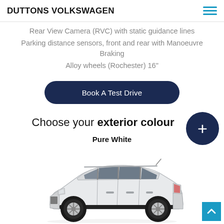DUTTONS VOLKSWAGEN
Rear View Camera (RVC) with static guidance lines
Parking distance sensors, front and rear with Manoeuvre Braking
Alloy wheels (Rochester) 16"
Book A Test Drive
Choose your exterior colour
Pure White
[Figure (photo): White Volkswagen SUV (T-Cross) side profile on white background]